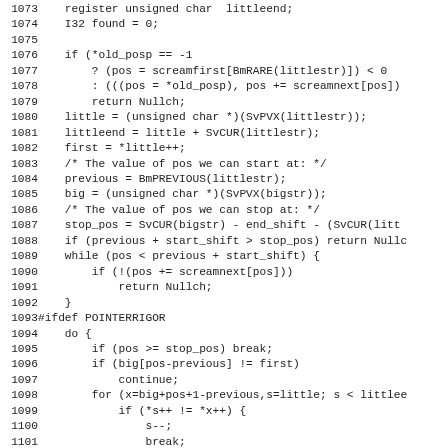[Figure (other): Source code listing in C (lines 1073-1105), showing a Boyer-Moore string search implementation with line numbers on the left and monospace code on the right.]